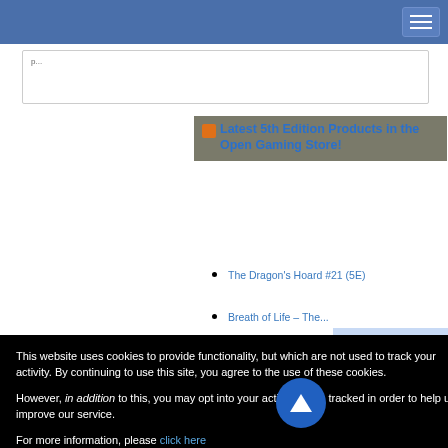p...
Latest 5th Edition Products in the Open Gaming Store!
The Dragon's Hoard #21 (5E)
Breath of Life – The...
This website uses cookies to provide functionality, but which are not used to track your activity. By continuing to use this site, you agree to the use of these cookies.
However, in addition to this, you may opt into your activity being tracked in order to help us improve our service.
For more information, please click here
OK  No, thank you
Report a Bug or Gaming...